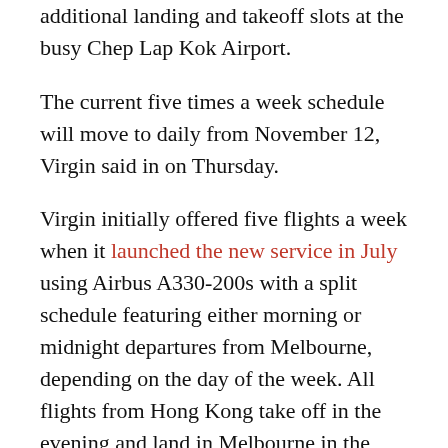additional landing and takeoff slots at the busy Chep Lap Kok Airport.
The current five times a week schedule will move to daily from November 12, Virgin said in on Thursday.
Virgin initially offered five flights a week when it launched the new service in July using Airbus A330-200s with a split schedule featuring either morning or midnight departures from Melbourne, depending on the day of the week. All flights from Hong Kong take off in the evening and land in Melbourne in the morning.
In August, the airline announced it would introduce a consistent flight schedule from October, with all